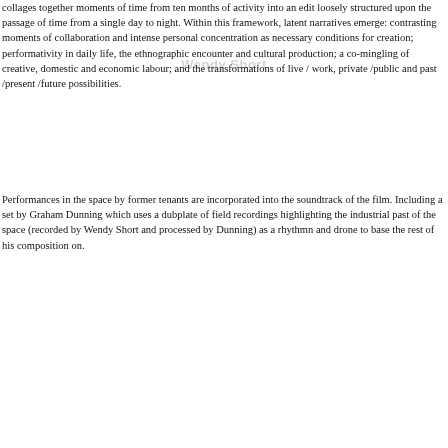collages together moments of time from ten months of activity into an edit loosely structured upon the passage of time from a single day to night. Within this framework, latent narratives emerge: contrasting moments of collaboration and intense personal concentration as necessary conditions for creation; performativity in daily life, the ethnographic encounter and cultural production; a co-mingling of creative, domestic and economic labour; and the transformations of live / work, private /public and past /present /future possibilities.
Performances in the space by former tenants are incorporated into the soundtrack of the film. Including a set by Graham Dunning which uses a dubplate of field recordings highlighting the industrial past of the space (recorded by Wendy Short and processed by Dunning) as a rhythmn and drone to base the rest of his composition on.